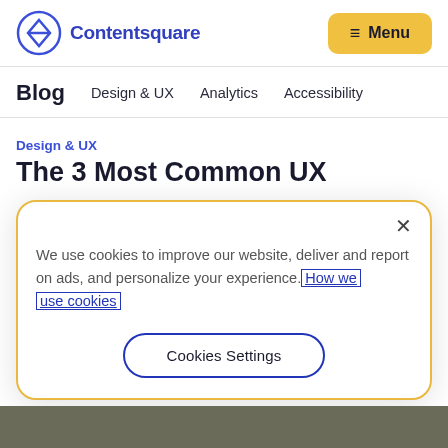Contentsquare | Menu
Blog | Design & UX | Analytics | Accessibility
Design & UX
The 3 Most Common UX
We use cookies to improve our website, deliver and report on ads, and personalize your experience. How we use cookies
Cookies Settings